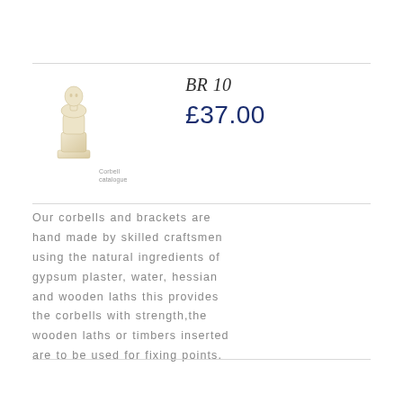[Figure (photo): A cream/off-white plaster corbell or bracket sculpture, small figurine-like shape, photographed against white background]
BR 10
£37.00
Our corbells and brackets are hand made by skilled craftsmen using the natural ingredients of gypsum plaster, water, hessian and wooden laths this provides the corbells with strength,the wooden laths or timbers inserted are to be used for fixing points.